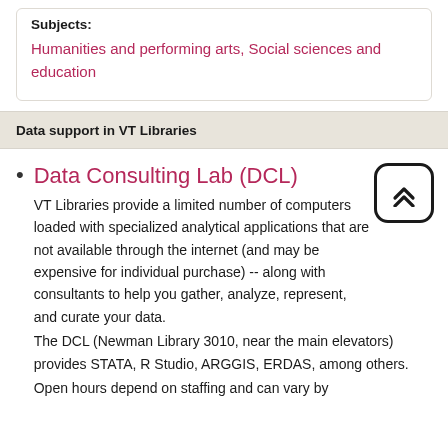Subjects:
Humanities and performing arts, Social sciences and education
Data support in VT Libraries
Data Consulting Lab (DCL)
VT Libraries provide a limited number of computers loaded with specialized analytical applications that are not available through the internet (and may be expensive for individual purchase) -- along with consultants to help you gather, analyze, represent, and curate your data.
The DCL (Newman Library 3010, near the main elevators) provides STATA, R Studio, ARGGIS, ERDAS, among others.
Open hours depend on staffing and can vary by